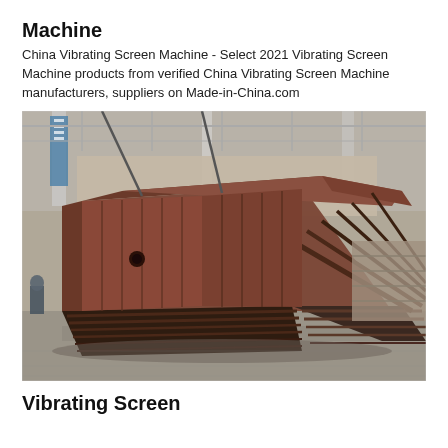Machine
China Vibrating Screen Machine - Select 2021 Vibrating Screen Machine products from verified China Vibrating Screen Machine manufacturers, suppliers on Made-in-China.com
[Figure (photo): Large industrial vibrating screen machine resting on a factory floor, showing a heavy steel frame structure with inclined panels and cross-bar grille, photographed inside a large industrial building.]
Vibrating Screen